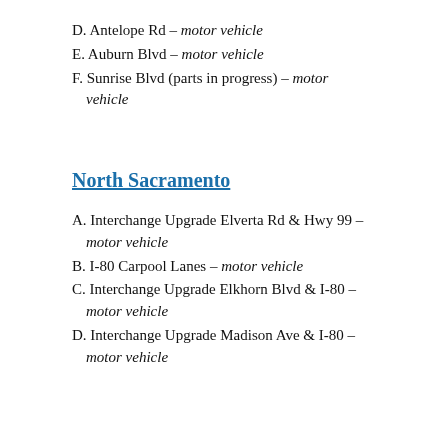D. Antelope Rd – motor vehicle
E. Auburn Blvd – motor vehicle
F. Sunrise Blvd (parts in progress) – motor vehicle
North Sacramento
A. Interchange Upgrade Elverta Rd & Hwy 99 – motor vehicle
B. I-80 Carpool Lanes – motor vehicle
C. Interchange Upgrade Elkhorn Blvd & I-80 – motor vehicle
D. Interchange Upgrade Madison Ave & I-80 – motor vehicle